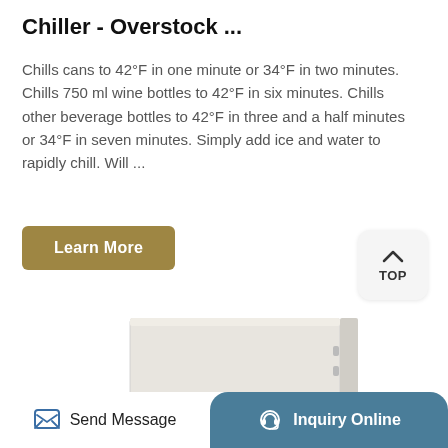Chiller - Overstock ...
Chills cans to 42°F in one minute or 34°F in two minutes. Chills 750 ml wine bottles to 42°F in six minutes. Chills other beverage bottles to 42°F in three and a half minutes or 34°F in seven minutes. Simply add ice and water to rapidly chill. Will ...
Learn More
[Figure (photo): White boxy appliance chiller unit, partial view showing right side and top]
Send Message
Inquiry Online